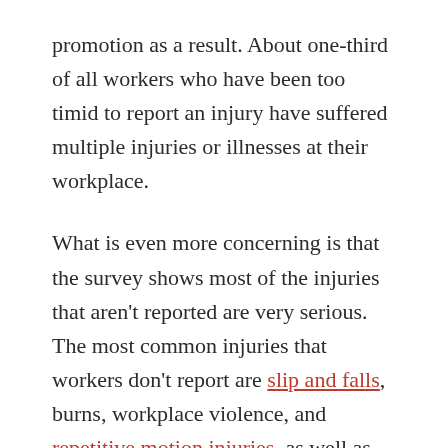promotion as a result. About one-third of all workers who have been too timid to report an injury have suffered multiple injuries or illnesses at their workplace.
What is even more concerning is that the survey shows most of the injuries that aren't reported are very serious. The most common injuries that workers don't report are slip and falls, burns, workplace violence, and repetitive motion injuries, as well as injuries from being caught in machinery. Employers are obligated to protect their employees from hazards according to the Occupational Safety and Health Administration, but they don't always